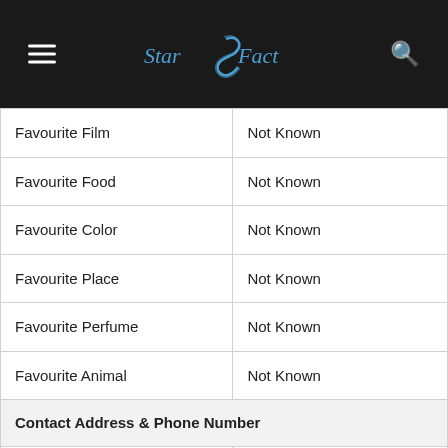StarSFact
| Favourite Film | Not Known |
| Favourite Food | Not Known |
| Favourite Color | Not Known |
| Favourite Place | Not Known |
| Favourite Perfume | Not Known |
| Favourite Animal | Not Known |
| Contact Address & Phone Number |  |
| Address | Dhaka, Bangladesh |
| Phone/Mobile Number | Not Known |
| Social Media Profile |  |
| Facenbook |  |
| Twitter |  |
| Instagram |  |